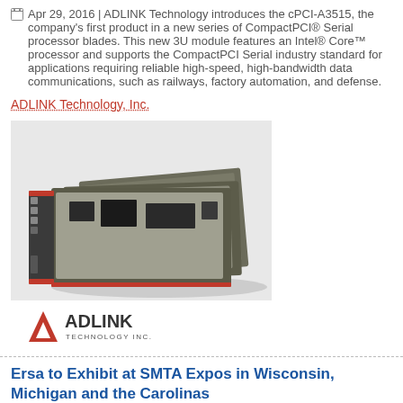Apr 29, 2016 | ADLINK Technology introduces the cPCI-A3515, the company's first product in a new series of CompactPCI® Serial processor blades. This new 3U module features an Intel® Core™ processor and supports the CompactPCI Serial industry standard for applications requiring reliable high-speed, high-bandwidth data communications, such as railways, factory automation, and defense.
ADLINK Technology, Inc.
[Figure (photo): Photo of ADLINK cPCI-A3515 CompactPCI Serial processor blades stacked together]
[Figure (logo): ADLINK Technology Inc. logo with red triangle and company name]
Ersa to Exhibit at SMTA Expos in Wisconsin, Michigan and the Carolinas
Apr 29, 2016 | Kurtz Ersa North America is pleased to announce that its representatives will be available at the following SMTA Expos:
kurtz ersa Corporation